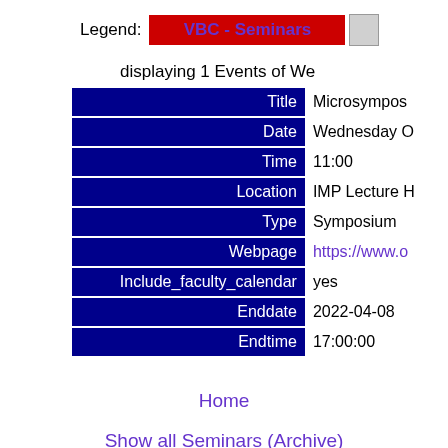Legend: VBC - Seminars
displaying 1 Events of We
| Field | Value |
| --- | --- |
| Title | Microsympos |
| Date | Wednesday O |
| Time | 11:00 |
| Location | IMP Lecture H |
| Type | Symposium |
| Webpage | https://www.o |
| Include_faculty_calendar | yes |
| Enddate | 2022-04-08 |
| Endtime | 17:00:00 |
Home
Show all Seminars (Archive)
Impressum